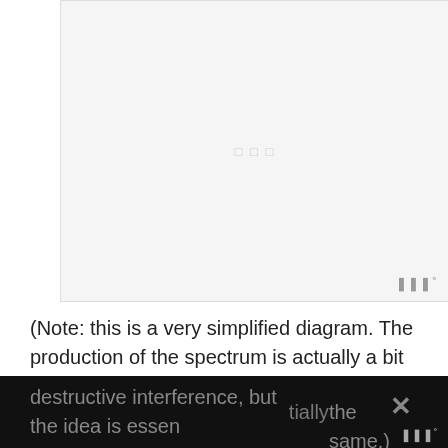[Figure (illustration): A mostly blank/white diagram area with a faint placeholder image in the center, representing a simplified spectrum diagram. Watermark logo visible in bottom-right corner.]
(Note: this is a very simplified diagram. The production of the spectrum is actually a bit more complex and involves patterns of constructive and destructive interference, but the idea is essentially the same.)